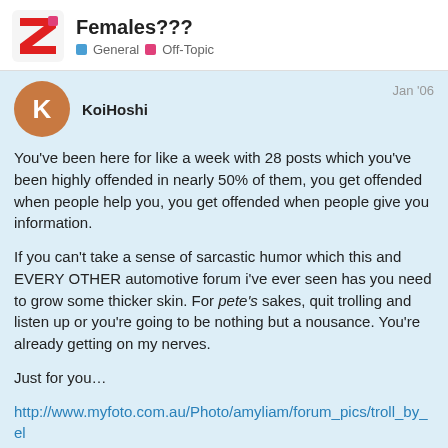Females??? General Off-Topic
KoiHoshi Jan '06
You've been here for like a week with 28 posts which you've been highly offended in nearly 50% of them, you get offended when people help you, you get offended when people give you information.

If you can't take a sense of sarcastic humor which this and EVERY OTHER automotive forum i've ever seen has you need to grow some thicker skin. For pete's sakes, quit trolling and listen up or you're going to be nothing but a nousance. You're already getting on my nerves.

Just for you…

http://www.myfoto.com.au/Photo/amyliam/forum_pics/troll_by_elarbee134875.jpg
21 / 35